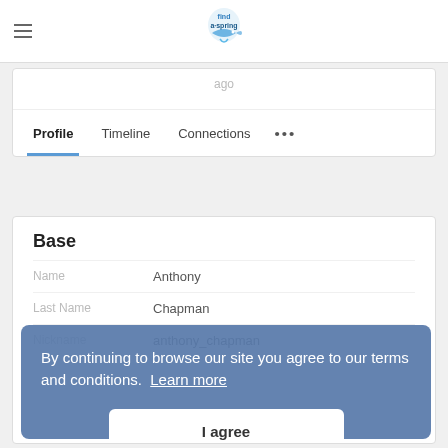[Figure (logo): Find a Spring website logo — stylized blue fish/spring graphic with text]
ago
Profile  Timeline  Connections  •••
Base
Name  Anthony
Last Name  Chapman
Nickname  anthony_chapman
By continuing to browse our site you agree to our terms and conditions.  Learn more
I agree